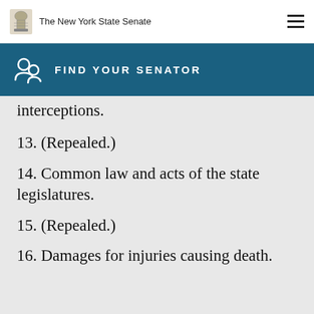The New York State Senate
FIND YOUR SENATOR
interceptions.
13. (Repealed.)
14. Common law and acts of the state legislatures.
15. (Repealed.)
16. Damages for injuries causing death.